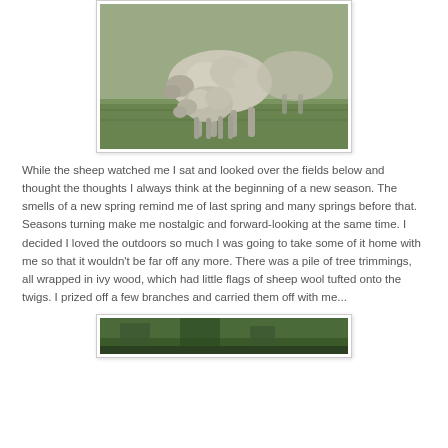[Figure (photo): A ewe (adult sheep) with a lamb nursing or standing close beside her on green grass. The photo has a white border/frame around it.]
While the sheep watched me I sat and looked over the fields below and thought the thoughts I always think at the beginning of a new season. The smells of a new spring remind me of last spring and many springs before that. Seasons turning make me nostalgic and forward-looking at the same time. I decided I loved the outdoors so much I was going to take some of it home with me so that it wouldn't be far off any more. There was a pile of tree trimmings, all wrapped in ivy wood, which had little flags of sheep wool tufted onto the twigs. I prized off a few branches and carried them off with me...
[Figure (photo): Partial view of a second outdoor/nature photograph, partially visible at the bottom of the page.]